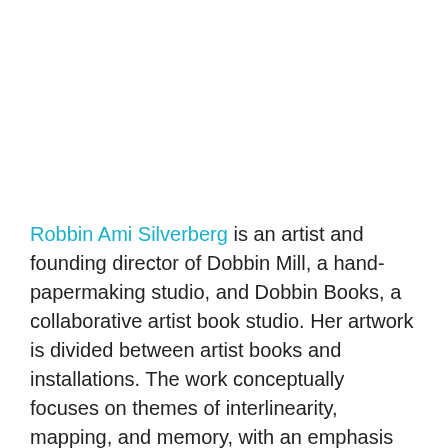Robbin Ami Silverberg is an artist and founding director of Dobbin Mill, a hand-papermaking studio, and Dobbin Books, a collaborative artist book studio. Her artwork is divided between artist books and installations. The work conceptually focuses on themes of interlinearity, mapping, and memory, with an emphasis on process and paper as activated substrate.